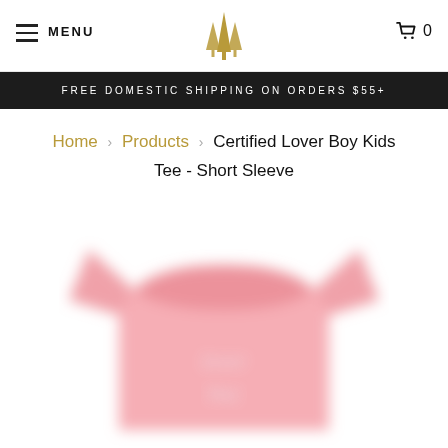MENU | [logo] | 0
FREE DOMESTIC SHIPPING ON ORDERS $55+
Home > Products > Certified Lover Boy Kids Tee - Short Sleeve
[Figure (photo): Pink kids short sleeve t-shirt with 'lover boy' text printed on the front, shown on a white background, slightly blurred]